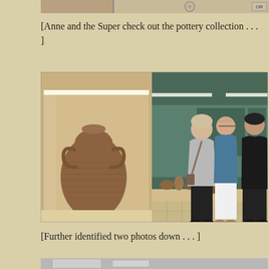[Figure (photo): Top portion of a photo showing museum or archaeological artifacts display, partially cropped, with a badge reading 'OR' in the upper right corner.]
[Anne and the Super check out the pottery collection . . . ]
[Figure (photo): Museum display showing a large ancient pottery vessel/amphora in a glass case on the left, and on the right three museum visitors (two women and one man) viewing additional pottery exhibits in glass cases. The room has a teal/green wall in the background.]
[Further identified two photos down . . . ]
[Figure (photo): Bottom portion of another photo, partially cropped, showing what appears to be a bright interior space.]